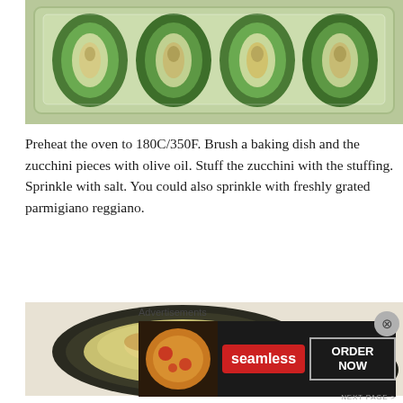[Figure (photo): Stuffed zucchini pieces in a glass baking dish, viewed from above. Four hollowed zucchini halves filled with stuffing mixture arranged in a row.]
Preheat the oven to 180C/350F. Brush a baking dish and the zucchini pieces with olive oil. Stuff the zucchini with the stuffing. Sprinkle with salt. You could also sprinkle with freshly grated parmigiano reggiano.
[Figure (photo): Close-up of baked stuffed zucchini pieces on a white plate, showing golden browned cheese topping with dark charred edges.]
Advertisements
[Figure (other): Seamless food delivery advertisement banner with pizza image, Seamless logo in red, and ORDER NOW button.]